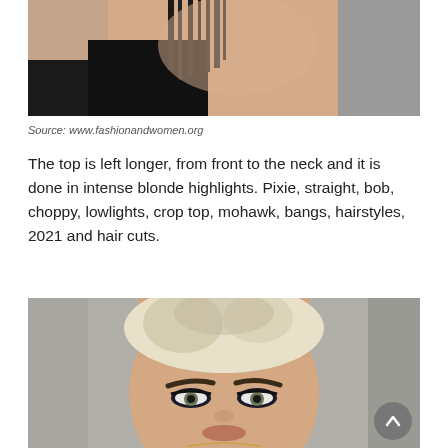[Figure (photo): Close-up photo of a woman's neck and lower face area showing dark hair and black top, cropped view from a fashion/hairstyle article]
Source: www.fashionandwomen.org
The top is left longer, from front to the neck and it is done in intense blonde highlights. Pixie, straight, bob, choppy, lowlights, crop top, mohawk, bangs, hairstyles, 2021 and hair cuts.
[Figure (photo): Close-up photo of a woman with a short platinum blonde pixie cut hairstyle, heavy eye makeup, viewed from slightly above in a mirror selfie setting]